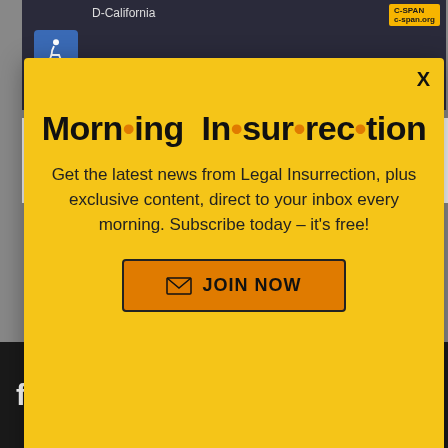[Figure (screenshot): C-SPAN broadcast screenshot with D-California label and wheelchair accessibility icon, dark background]
Sen. Kamala Harris' husband Douglas Emhoff is reportedly leaving his job at the law firm DLA Piper
[Figure (infographic): Morning Insurrection newsletter popup modal on yellow background with close X button, subscribe text, and JOIN NOW orange button]
[Figure (screenshot): Fiverr advertisement with dark background, fiverr logo in white and Start Now green button]